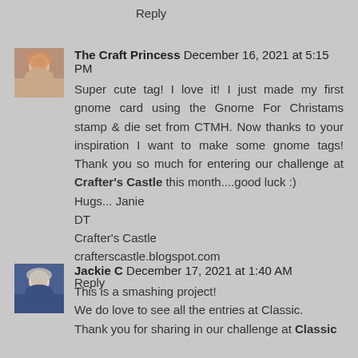Reply
The Craft Princess December 16, 2021 at 5:15 PM
Super cute tag! I love it! I just made my first gnome card using the Gnome For Christams stamp & die set from CTMH. Now thanks to your inspiration I want to make some gnome tags! Thank you so much for entering our challenge at Crafter's Castle this month....good luck :)
Hugs... Janie
DT
Crafter's Castle
crafterscastle.blogspot.com
Reply
Jackie C December 17, 2021 at 1:40 AM
This is a smashing project!
We do love to see all the entries at Classic.
Thank you for sharing in our challenge at Classic